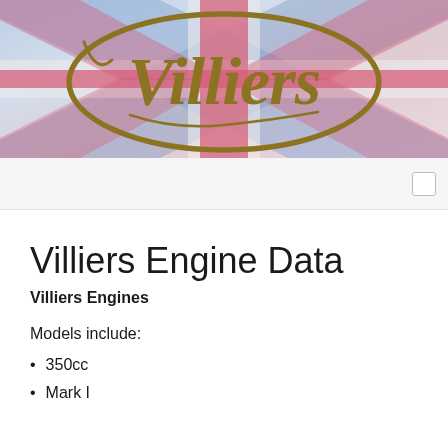[Figure (illustration): Villiers brand logo (gold cursive text 'Villiers' inside a gold oval outline) overlaid on a blurred Union Jack (British flag) background in blues, reds, and whites.]
Villiers Engine Data
Villiers Engines
Models include:
350cc
Mark I